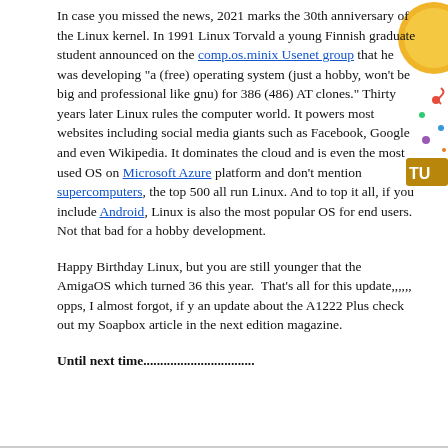In case you missed the news, 2021 marks the 30th anniversary of the Linux kernel. In 1991 Linux Torvald a young Finnish graduate student announced on the comp.os.minix Usenet group that he was developing "a (free) operating system (just a hobby, won't be big and professional like gnu) for 386 (486) AT clones." Thirty years later Linux rules the computer world. It powers most websites including social media giants such as Facebook, Google and even Wikipedia. It dominates the cloud and is even the most used OS on Microsoft Azure platform and don't mention supercomputers, the top 500 all run Linux. And to top it all, if you include Android, Linux is also the most popular OS for end users. Not that bad for a hobby development.
Happy Birthday Linux, but you are still younger that the AmigaOS which turned 36 this year.  That's all for this update,,,,,, opps, I almost forgot, if y an update about the A1222 Plus check out my Soapbox article in the next edition magazine.
Until next time.................................
[Figure (illustration): Partial decorative image visible on the right edge: a gold coin/badge and colorful confetti/party decorations with text 'TU' visible, suggesting a birthday/anniversary theme.]